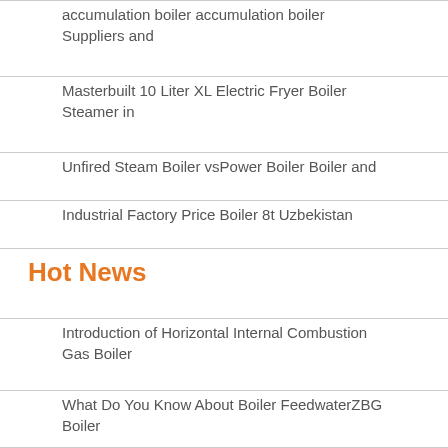accumulation boiler accumulation boiler Suppliers and
Masterbuilt 10 Liter XL Electric Fryer Boiler Steamer in
Unfired Steam Boiler vsPower Boiler Boiler and
Industrial Factory Price Boiler 8t Uzbekistan
Hot News
Introduction of Horizontal Internal Combustion Gas Boiler
What Do You Know About Boiler FeedwaterZBG Boiler